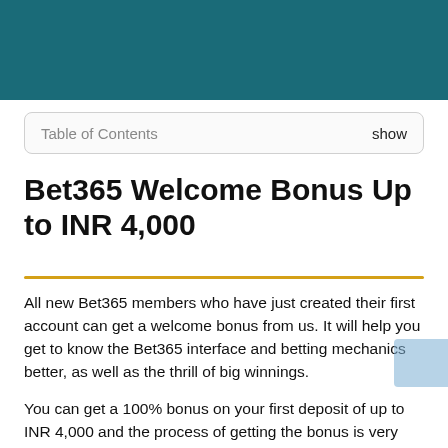[Figure (other): Teal/dark cyan header banner background at top of page]
Table of Contents    show
Bet365 Welcome Bonus Up to INR 4,000
All new Bet365 members who have just created their first account can get a welcome bonus from us. It will help you get to know the Bet365 interface and betting mechanics better, as well as the thrill of big winnings.
You can get a 100% bonus on your first deposit of up to INR 4,000 and the process of getting the bonus is very simple!